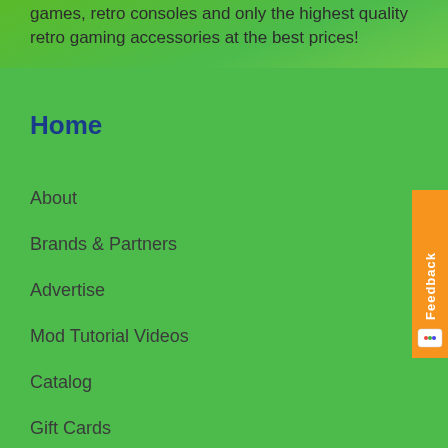games, retro consoles and only the highest quality retro gaming accessories at the best prices!
Home
About
Brands & Partners
Advertise
Mod Tutorial Videos
Catalog
Gift Cards
Contact Us
Sitemap
Information
Privacy
Refunds